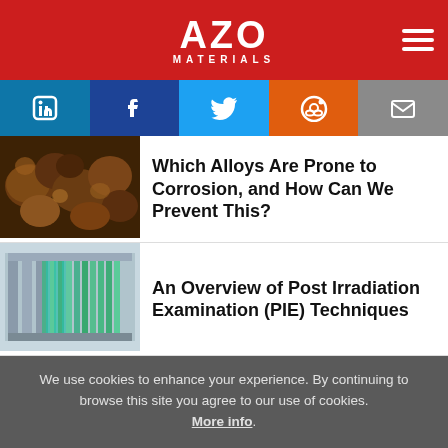[Figure (logo): AZO Materials logo in white on red background with hamburger menu icon]
[Figure (infographic): Social sharing bar with LinkedIn, Facebook, Twitter, Reddit, and Email icons]
[Figure (photo): Corroded rusty metal alloy pieces]
Which Alloys Are Prone to Corrosion, and How Can We Prevent This?
[Figure (photo): Post irradiation examination equipment with green and teal rods in metal frame]
An Overview of Post Irradiation Examination (PIE) Techniques
We use cookies to enhance your experience. By continuing to browse this site you agree to our use of cookies. More info.
✓ Accept
Cookie Settings